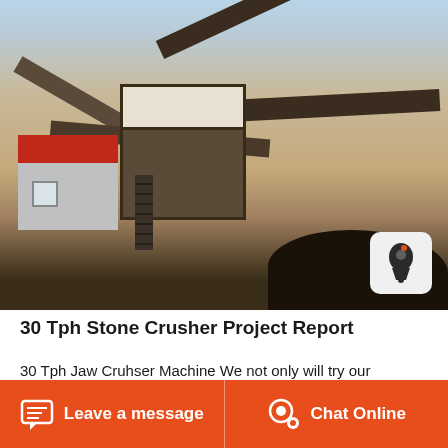[Figure (photo): Aerial view of a 30 Tph stone crusher plant in a desert setting, showing conveyor belts, a jaw crusher machine, a building with a red roof, and a dark aggregate pile.]
30 Tph Stone Crusher Project Report
30 Tph Jaw Cruhser Machine We not only will try our greatest to present fantastic expert services to each
Leave a message  |  Chat Online